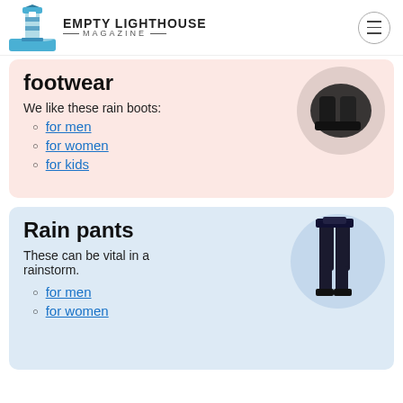EMPTY LIGHTHOUSE MAGAZINE
footwear
We like these rain boots:
for men
for women
for kids
[Figure (photo): Black rain boots in a circular image on a pink background]
Rain pants
These can be vital in a rainstorm.
for men
for women
[Figure (photo): Person wearing dark rain pants in a circular image on a blue background]